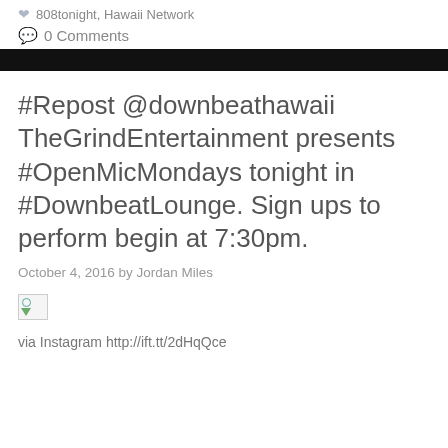808tonight, Hawaii Network
0 Comments
#Repost @downbeathawaii TheGrindEntertainment presents #OpenMicMondays tonight in #DownbeatLounge. Sign ups to perform begin at 7:30pm.
October 4, 2016 by Jordan Miles
[Figure (photo): Broken/missing image placeholder icon]
via Instagram http://ift.tt/2dHqQce